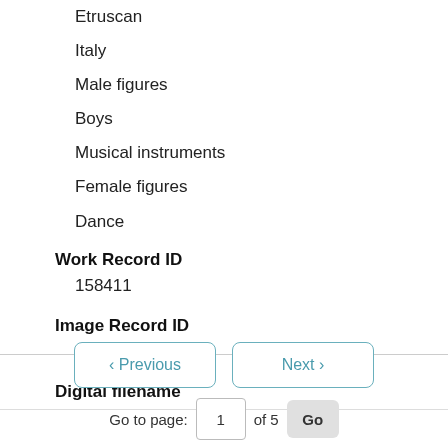Etruscan
Italy
Male figures
Boys
Musical instruments
Female figures
Dance
Work Record ID
158411
Image Record ID
948497
Digital filename